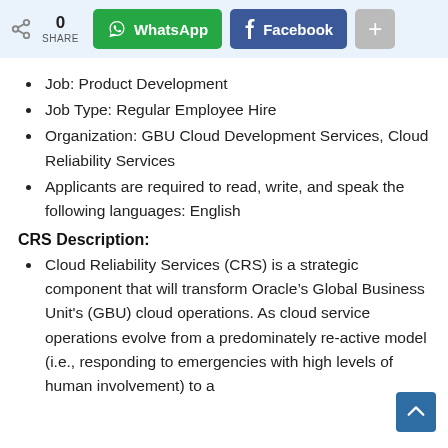0 SHARE | WhatsApp | Facebook | +
Job: Product Development
Job Type: Regular Employee Hire
Organization: GBU Cloud Development Services, Cloud Reliability Services
Applicants are required to read, write, and speak the following languages: English
CRS Description:
Cloud Reliability Services (CRS) is a strategic component that will transform Oracle’s Global Business Unit's (GBU) cloud operations. As cloud service operations evolve from a predominately re-active model (i.e., responding to emergencies with high levels of human involvement) to a